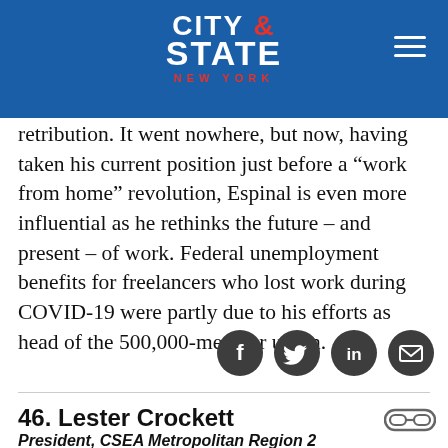CITY & STATE NEW YORK
retribution. It went nowhere, but now, having taken his current position just before a “work from home” revolution, Espinal is even more influential as he rethinks the future – and present – of work. Federal unemployment benefits for freelancers who lost work during COVID-19 were partly due to his efforts as head of the 500,000-member union.
[Figure (other): Social media sharing icons: Facebook, Twitter, LinkedIn, Email]
46. Lester Crockett
President, CSEA Metropolitan Region 2